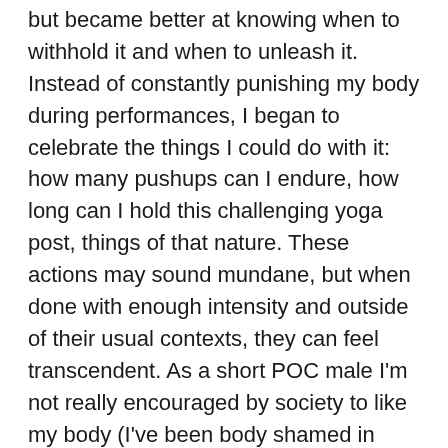but became better at knowing when to withhold it and when to unleash it. Instead of constantly punishing my body during performances, I began to celebrate the things I could do with it: how many pushups can I endure, how long can I hold this challenging yoga post, things of that nature. These actions may sound mundane, but when done with enough intensity and outside of their usual contexts, they can feel transcendent. As a short POC male I'm not really encouraged by society to like my body (I've been body shamed in articles reviewing my work more than once), so making work that celebrated how much I enjoyed inhabiting my body felt very subversive to me.
Because of the art I was making, I became very obsessed with fitness at this time. I had been extremely physically active during my high school